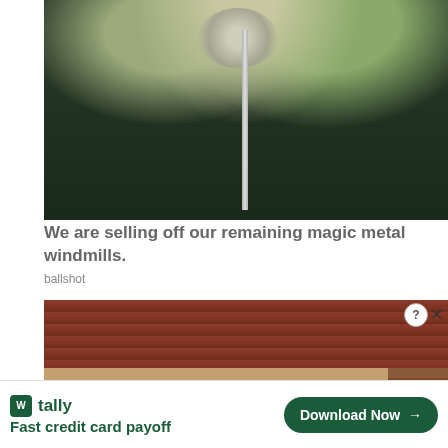[Figure (photo): Photo of a decorative metal windmill sculpture on a pole against a backdrop of dark green trees]
We are selling off our remaining magic metal windmills.
ballshot
[Figure (photo): Photo of a house with brick exterior and garage door, with a red oval overlay reading 'Help Palmer']
[Figure (other): Advertisement banner: Tally - Fast credit card payoff with Download Now button]